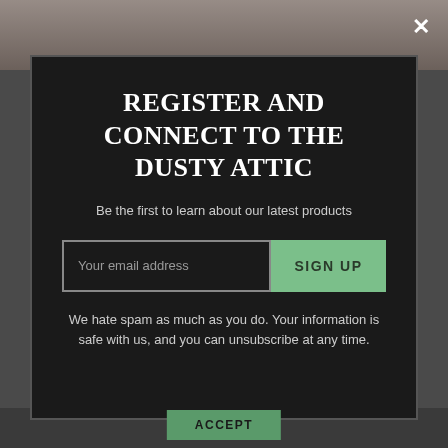[Figure (screenshot): Dark modal popup overlay on a website. Contains a registration form for 'The Dusty Attic' newsletter with email input and sign up button.]
REGISTER AND CONNECT TO THE DUSTY ATTIC
Be the first to learn about our latest products
Your email address
SIGN UP
We hate spam as much as you do. Your information is safe with us, and you can unsubscribe at any time.
ACCEPT